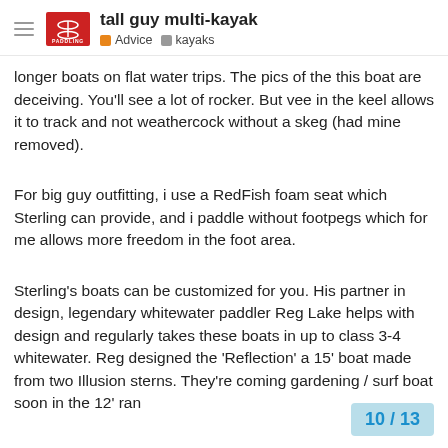tall guy multi-kayak | Advice | kayaks
longer boats on flat water trips. The pics of the this boat are deceiving. You'll see a lot of rocker. But vee in the keel allows it to track and not weathercock without a skeg (had mine removed).
For big guy outfitting, i use a RedFish foam seat which Sterling can provide, and i paddle without footpegs which for me allows more freedom in the foot area.
Sterling's boats can be customized for you. His partner in design, legendary whitewater paddler Reg Lake helps with design and regularly takes these boats in up to class 3-4 whitewater. Reg designed the 'Reflection' a 15' boat made from two Illusion sterns. They're coming gardening / surf boat soon in the 12' ran
10 / 13